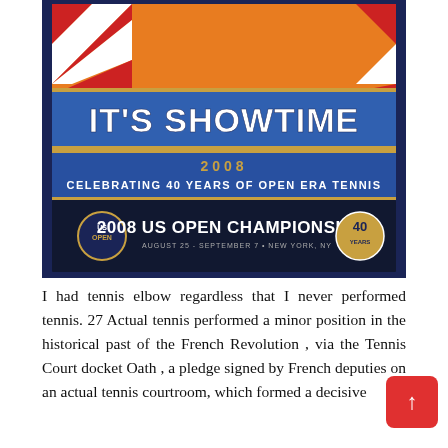[Figure (illustration): 2008 US Open Championships poster. Dark navy blue background. Top portion shows a stylized marquee/theater sign in orange and blue with red-and-white diagonal stripes. Large bold text reads 'IT'S SHOWTIME' on a blue banner. Below that '2008' and 'CELEBRATING 40 YEARS OF OPEN ERA TENNIS'. Bottom band shows '2008 US OPEN CHAMPIONSHIPS' in large white text with US Open logo on left and 40th anniversary badge on right.]
I had tennis elbow regardless that I never performed tennis. 27 Actual tennis performed a minor position in the historical past of the French Revolution , via the Tennis Court docket Oath , a pledge signed by French deputies on an actual tennis courtroom, which formed a decisive